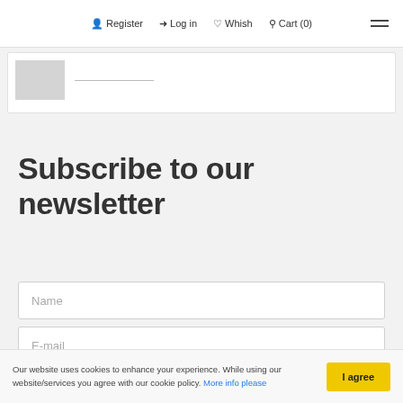Register  Log in  Whish  Cart (0)
[Figure (screenshot): Partial product card with a blurred/pixelated thumbnail image and a horizontal line placeholder]
Subscribe to our newsletter
Name
E-mail
Our website uses cookies to enhance your experience. While using our website/services you agree with our cookie policy. More info please